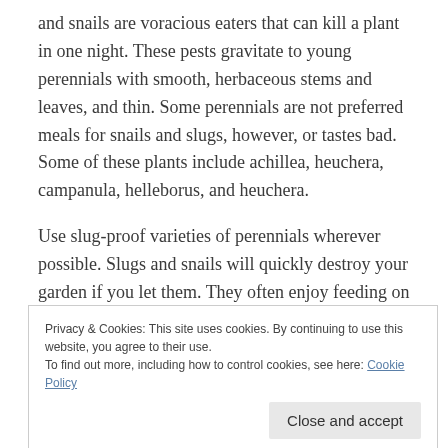and snails are voracious eaters that can kill a plant in one night. These pests gravitate to young perennials with smooth, herbaceous stems and leaves, and thin. Some perennials are not preferred meals for snails and slugs, however, or tastes bad. Some of these plants include achillea, heuchera, campanula, helleborus, and heuchera.
Use slug-proof varieties of perennials wherever possible. Slugs and snails will quickly destroy your garden if you let them. They often enjoy feeding on perennials with very smooth and
Privacy & Cookies: This site uses cookies. By continuing to use this website, you agree to their use.
To find out more, including how to control cookies, see here: Cookie Policy
hellaborus, and heuchera.